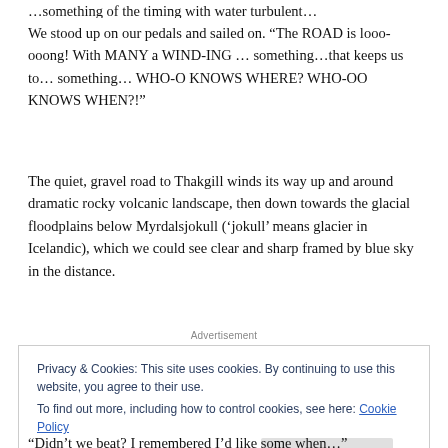...something of the timing with water turbulent...
We stood up on our pedals and sailed on. “The ROAD is looo-ooong! With MANY a WIND-ING … something…that keeps us to… something… WHO-O KNOWS WHERE? WHO-OO KNOWS WHEN?!”
The quiet, gravel road to Thakgill winds its way up and around dramatic rocky volcanic landscape, then down towards the glacial floodplains below Myrdalsjokull (‘jokull’ means glacier in Icelandic), which we could see clear and sharp framed by blue sky in the distance.
Advertisement
Privacy & Cookies: This site uses cookies. By continuing to use this website, you agree to their use.
To find out more, including how to control cookies, see here: Cookie Policy
“Didn’t we beat? I remembered I’d like some when…”